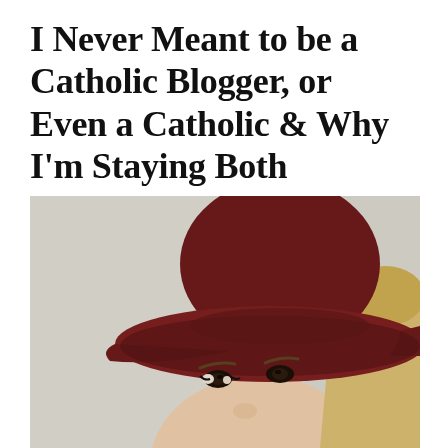I Never Meant to be a Catholic Blogger, or Even a Catholic & Why I'm Staying Both
[Figure (photo): A blonde woman wearing a wide-brimmed dark red/maroon floppy hat, photographed from the nose up, against a light beige wall background.]